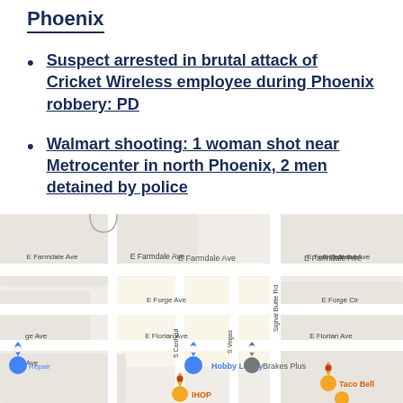Phoenix
Suspect arrested in brutal attack of Cricket Wireless employee during Phoenix robbery: PD
Walmart shooting: 1 woman shot near Metrocenter in north Phoenix, 2 men detained by police
[Figure (map): Google Maps screenshot showing street map with E Farmdale Ave, E Forge Ave, E Florian Ave, S Canfield, S Vegas, Signal Butte Rd, E Sunland Ave, E Forge Cir, and business markers including Hobby Lobby, Brakes Plus, IHOP, Taco Bell, and a repair shop.]